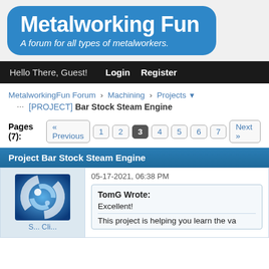Metalworking Fun
A forum for all types of metalworkers.
Hello There, Guest!  Login  Register
MetalworkingFun Forum › Machining › Projects
[PROJECT] Bar Stock Steam Engine
Pages (7): « Previous 1 2 3 4 5 6 7 Next »
Project Bar Stock Steam Engine
05-17-2021, 06:38 PM
TomG Wrote:
Excellent!
This project is helping you learn the va...